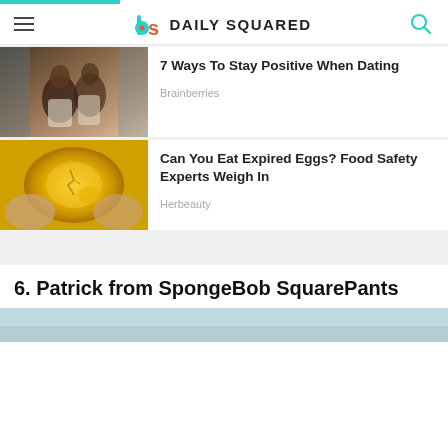Daily Squared
[Figure (photo): Couple embracing in a romantic scene, article thumbnail for dating article]
7 Ways To Stay Positive When Dating
Brainberries
[Figure (photo): Close-up of a cracked or expired egg yolk, yellow-orange in color, article thumbnail]
Can You Eat Expired Eggs? Food Safety Experts Weigh In
Herbeauty
6. Patrick from SpongeBob SquarePants
[Figure (photo): Partial bottom photo strip, blue-gray tones, beginning of next article image]